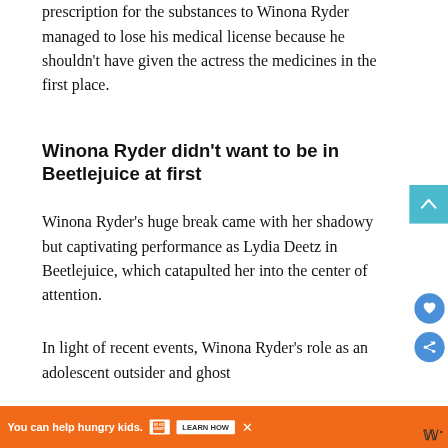prescription for the substances to Winona Ryder managed to lose his medical license because he shouldn't have given the actress the medicines in the first place.
Winona Ryder didn't want to be in Beetlejuice at first
Winona Ryder's huge break came with her shadowy but captivating performance as Lydia Deetz in Beetlejuice, which catapulted her into the center of attention.
In light of recent events, Winona Ryder's role as an adolescent outsider and ghost
[Figure (other): Orange ad banner at bottom: 'You can help hungry kids.' with No Kid Hungry logo and LEARN HOW button and close X]